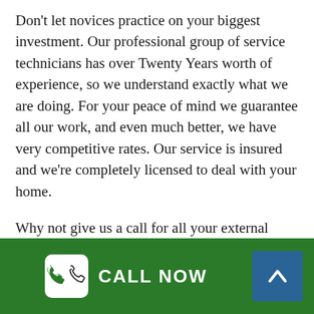Don't let novices practice on your biggest investment. Our professional group of service technicians has over Twenty Years worth of experience, so we understand exactly what we are doing. For your peace of mind we guarantee all our work, and even much better, we have very competitive rates. Our service is insured and we're completely licensed to deal with your home.
Why not give us a call for all your external cleaning requires or use our web form on the side.
We really are the specialists in what we do and we're proud to be able to supply free quotes that will provide you the very best value in the area.
CALL NOW